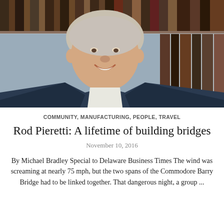[Figure (photo): Portrait photograph of Rod Pieretti, an older man with gray-white hair, wearing a dark navy suit and tie, smiling. Background shows bookshelves filled with dark-spined books.]
COMMUNITY, MANUFACTURING, PEOPLE, TRAVEL
Rod Pieretti: A lifetime of building bridges
November 10, 2016
By Michael Bradley Special to Delaware Business Times The wind was screaming at nearly 75 mph, but the two spans of the Commodore Barry Bridge had to be linked together. That dangerous night, a group ...